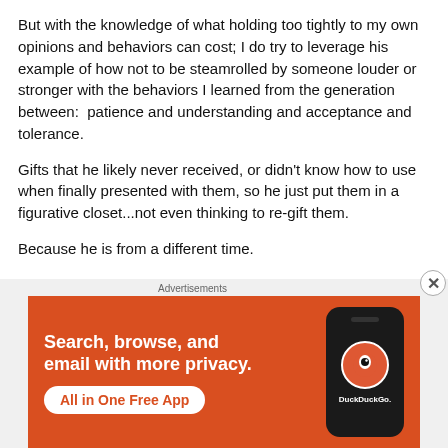But with the knowledge of what holding too tightly to my own opinions and behaviors can cost; I do try to leverage his example of how not to be steamrolled by someone louder or stronger with the behaviors I learned from the generation between:  patience and understanding and acceptance and tolerance.
Gifts that he likely never received, or didn't know how to use when finally presented with them, so he just put them in a figurative closet...not even thinking to re-gift them.
Because he is from a different time.
I really intended to introduce all three of my grandparents here, but my relationship with my grandpa – indeed, the man
[Figure (other): DuckDuckGo advertisement banner: 'Search, browse, and email with more privacy. All in One Free App' with phone mockup showing DuckDuckGo logo]